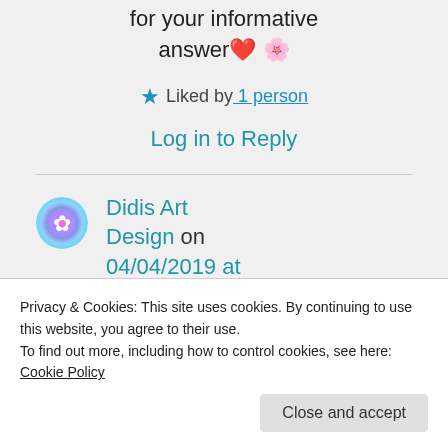for your informative answer ❤️ 🌸
★ Liked by 1 person
Log in to Reply
Didis Art Design on 04/04/2019 at 20:58
Privacy & Cookies: This site uses cookies. By continuing to use this website, you agree to their use. To find out more, including how to control cookies, see here: Cookie Policy
Close and accept